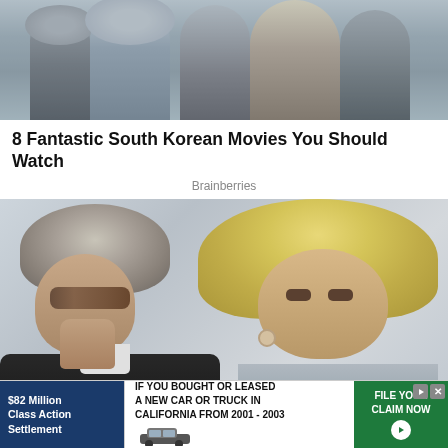[Figure (photo): Group of people walking outdoors, partial view cropped at top]
8 Fantastic South Korean Movies You Should Watch
Brainberries
[Figure (photo): Kurt Russell and Goldie Hawn photographed together, side profile and front facing]
Kurt Russell And Goldie Hawn Make Shocking
[Figure (infographic): Advertisement banner: $82 Million Class Action Settlement — IF YOU BOUGHT OR LEASED A NEW CAR OR TRUCK IN CALIFORNIA FROM 2001 - 2003 — FILE YOUR CLAIM NOW]